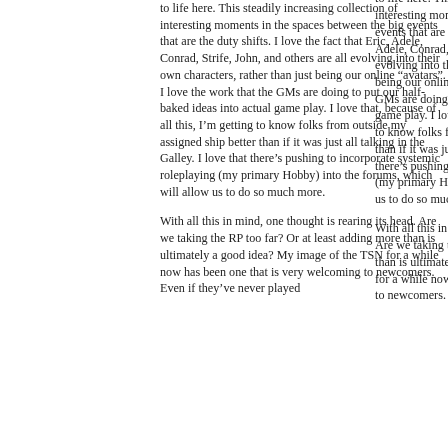to life here. This steadily increasing collection of interesting moments in the spaces between the big events that are the duty shifts. I love the fact that Eric, Adele, Conrad, Strife, John, and others are all evolving into their own characters, rather than just being our online “avatars”. I love the work that the GMs are doing to put our half-baked ideas into actual game play. I love that, because of all this, I’m getting to know folks from outside my assigned ship better than if it was just all talking in the Galley. I love that there’s pushing to incorporate systemic roleplaying (my primary Hobby) into the forums, which will allow us to do so much more.
With all this in mind, one thought is rearing its head. Are we taking the RP too far? Or at least adding more than is ultimately a good idea? My image of the TSN for a while now has been one that is very welcoming to newcomers. Even if they’ve never played